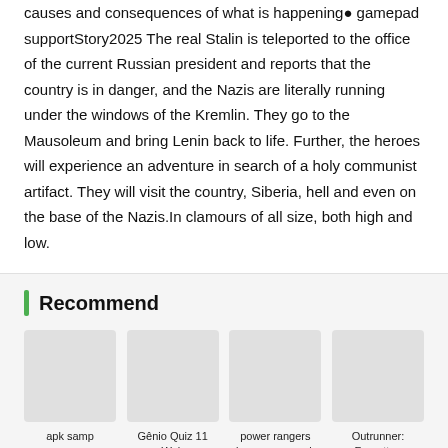causes and consequences of what is happening● gamepad supportStory2025 The real Stalin is teleported to the office of the current Russian president and reports that the country is in danger, and the Nazis are literally running under the windows of the Kremlin. They go to the Mausoleum and bring Lenin back to life. Further, the heroes will experience an adventure in search of a holy communist artifact. They will visit the country, Siberia, hell and even on the base of the Nazis.In clamours of all size, both high and low.
Recommend
[Figure (other): App icon placeholder for apk samp]
apk samp
[Figure (other): App icon placeholder for Gênio Quiz 11 Web]
Gênio Quiz 11 Web
[Figure (other): App icon placeholder for power rangers legacy wars apk mod lastest]
power rangers legacy wars apk mod lastest
[Figure (other): App icon placeholder for Outrunner: Forgotten King(MOD)]
Outrunner: Forgotten King(MOD)